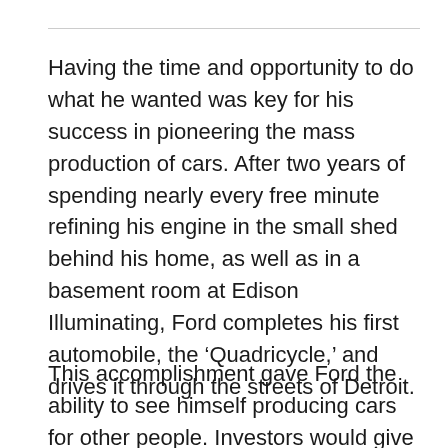Having the time and opportunity to do what he wanted was key for his success in pioneering the mass production of cars. After two years of spending nearly every free minute refining his engine in the small shed behind his home, as well as in a basement room at Edison Illuminating, Ford completes his first automobile, the ‘Quadricycle,’ and drives it through the streets of Detroit.
This accomplishment gave Ford the ability to see himself producing cars for other people. Investors would give him money for him to produce different types of cars. In